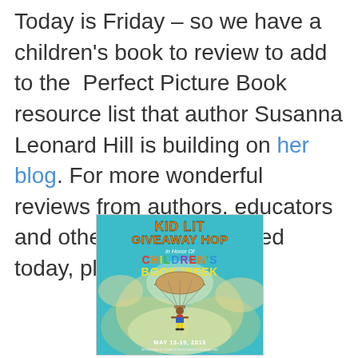Today is Friday – so we have a children's book to review to add to the Perfect Picture Book resource list that author Susanna Leonard Hill is building on her blog. For more wonderful reviews from authors, educators and others who contributed today, please go here
[Figure (illustration): Kid Lit Giveaway Hop poster in honor of Children's Book Week, May 13-19, 2013. Teal/turquoise background with a child parachuting down holding a book, surrounded by bright clouds. Orange bold text for 'KID LIT GIVEAWAY HOP', multicolor text for 'CHILDREN'S BOOK WEEK'.]